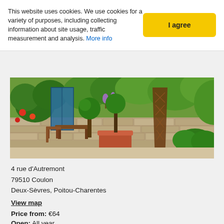This website uses cookies. We use cookies for a variety of purposes, including collecting information about site usage, traffic measurement and analysis. More info
[Figure (photo): Garden terrace of a hotel with potted topiary trees, a wooden lattice obelisk, stone wall, lush green plants and outdoor wooden furniture]
4 rue d'Autremont
79510 Coulon
Deux-Sèvres, Poitou-Charentes
View map
Price from: €64
Open: All year
Lovely, stylish locally run hotel in the heart of Coulon – an ideal base for exploring the Marais Poitevin marshes by bike and by boat. Coulon is